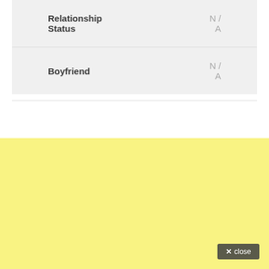| Field | Value |
| --- | --- |
| Relationship Status | N / A |
| Boyfriend | N / A |
[Figure (other): Large yellow/light-yellow background block filling the lower portion of the page, with a close button in the bottom-right corner.]